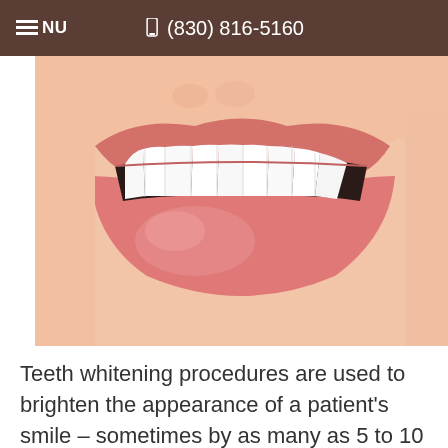MENU   (830) 816-5160
[Figure (photo): Close-up photo of a person smiling showing bright white teeth and pink lips — a teeth whitening before/after style dental photo]
Teeth whitening procedures are used to brighten the appearance of a patient's smile – sometimes by as many as 5 to 10 shades in a single session. According to the American Dental Association